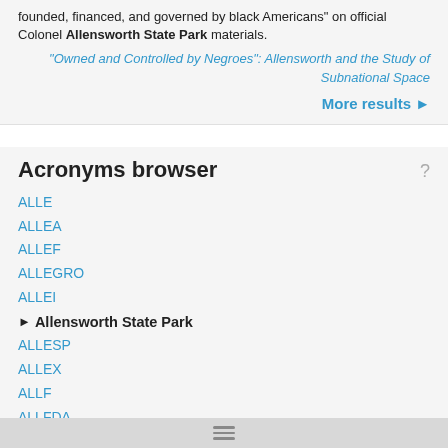founded, financed, and governed by black Americans on official Colonel Allensworth State Park materials.
"Owned and Controlled by Negroes": Allensworth and the Study of Subnational Space
More results ►
Acronyms browser
ALLE
ALLEA
ALLEF
ALLEGRO
ALLEI
► Allensworth State Park
ALLESP
ALLEX
ALLF
ALLFDA
ALLG
ALLHAT